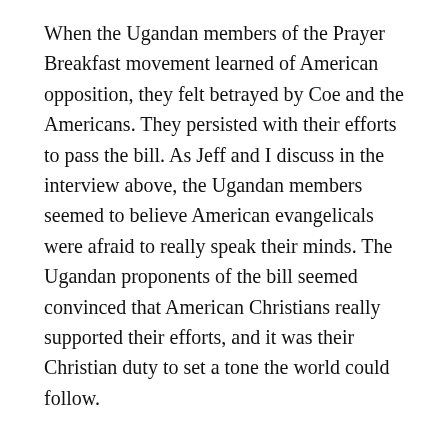When the Ugandan members of the Prayer Breakfast movement learned of American opposition, they felt betrayed by Coe and the Americans. They persisted with their efforts to pass the bill. As Jeff and I discuss in the interview above, the Ugandan members seemed to believe American evangelicals were afraid to really speak their minds. The Ugandan proponents of the bill seemed convinced that American Christians really supported their efforts, and it was their Christian duty to set a tone the world could follow.
Despite the Ugandan's belief, I don't believe the American Fellowship supported the bill. At